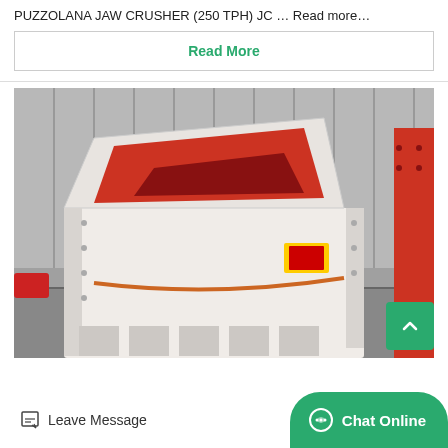PUZZOLANA JAW CRUSHER (250 TPH) JC ... Read more…
Read More
[Figure (photo): Industrial impact/jaw crusher machine, white body with red opening, mounted on concrete floor inside a warehouse. A red metal structure is partially visible on the right side.]
Leave Message
Chat Online